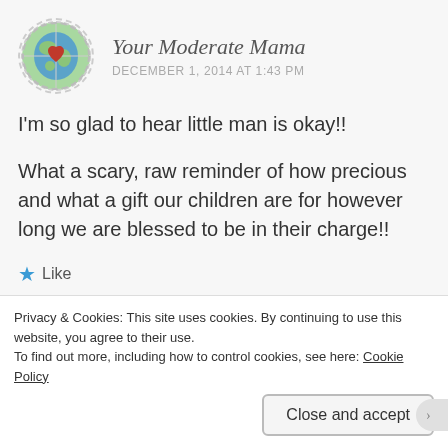Your Moderate Mama
DECEMBER 1, 2014 AT 1:43 PM
I'm so glad to hear little man is okay!!
What a scary, raw reminder of how precious and what a gift our children are for however long we are blessed to be in their charge!!
★ Like
Reply
Privacy & Cookies: This site uses cookies. By continuing to use this website, you agree to their use.
To find out more, including how to control cookies, see here: Cookie Policy
Close and accept